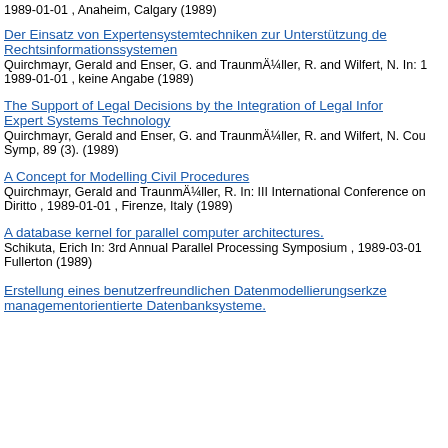1989-01-01 , Anaheim, Calgary (1989)
Der Einsatz von Expertensystemtechniken zur Unterstützung de... Rechtsinformationssystemen
Quirchmayr, Gerald and Enser, G. and TraunmÄ¼ller, R. and Wilfert, N. In: 1 1989-01-01 , keine Angabe (1989)
The Support of Legal Decisions by the Integration of Legal Infor... Expert Systems Technology
Quirchmayr, Gerald and Enser, G. and TraunmÄ¼ller, R. and Wilfert, N. Cou... Symp, 89 (3). (1989)
A Concept for Modelling Civil Procedures
Quirchmayr, Gerald and TraunmÄ¼ller, R. In: III International Conference on... Diritto , 1989-01-01 , Firenze, Italy (1989)
A database kernel for parallel computer architectures.
Schikuta, Erich In: 3rd Annual Parallel Processing Symposium , 1989-03-01... Fullerton (1989)
Erstellung eines benutzerfreundlichen Datenmodellierungserkze... managementorientierte Datenbanksysteme.